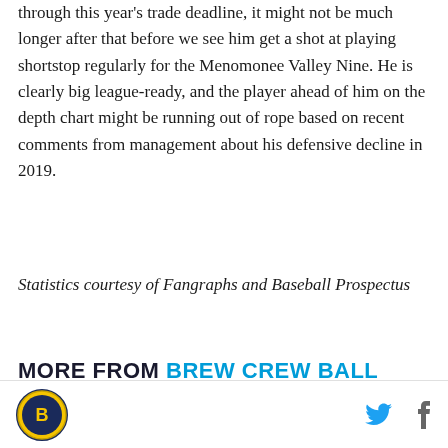through this year's trade deadline, it might not be much longer after that before we see him get a shot at playing shortstop regularly for the Menomonee Valley Nine. He is clearly big league-ready, and the player ahead of him on the depth chart might be running out of rope based on recent comments from management about his defensive decline in 2019.
Statistics courtesy of Fangraphs and Baseball Prospectus
MORE FROM BREW CREW BALL
Brew Crew Ball logo, Twitter and Facebook icons